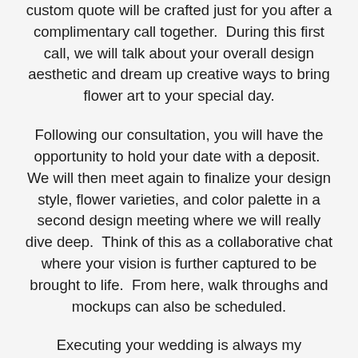custom quote will be crafted just for you after a complimentary call together.  During this first call, we will talk about your overall design aesthetic and dream up creative ways to bring flower art to your special day.
Following our consultation, you will have the opportunity to hold your date with a deposit.  We will then meet again to finalize your design style, flower varieties, and color palette in a second design meeting where we will really dive deep.  Think of this as a collaborative chat where your vision is further captured to be brought to life.  From here, walk throughs and mockups can also be scheduled.
Executing your wedding is always my